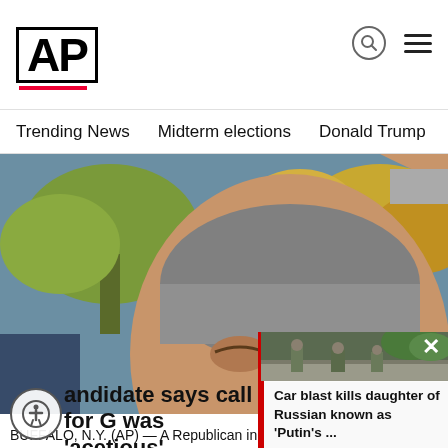AP
Trending News
Midterm elections
Donald Trump
Russia-Ukr
[Figure (photo): Close-up photo of an older man with gray hair outdoors, trees with yellow foliage in background]
[Figure (photo): Small video thumbnail showing soldiers near a road]
Car blast kills daughter of Russian known as 'Putin's ...
andidate says call for G was 'acetious'
BUFFALO, N.Y. (AP) — A Republican in western New York said in a radio int